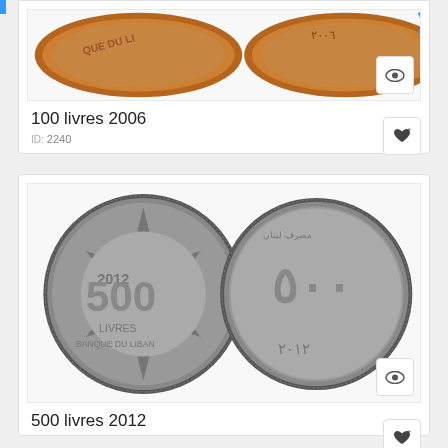[Figure (photo): Two Lebanese 100 livres 2006 coins (obverse and reverse), copper colored, showing 'QUE DU LIB' text and Arabic numerals for year 2006]
100 livres 2006
ID: 2240
[Figure (photo): Two Lebanese 500 livres 2012 coins (obverse and reverse), silver colored. Obverse shows '2012', '500', 'LIVRES', 'BANQUE DU LIBAN'. Reverse shows Arabic text and Arabic numeral year 2012.]
500 livres 2012